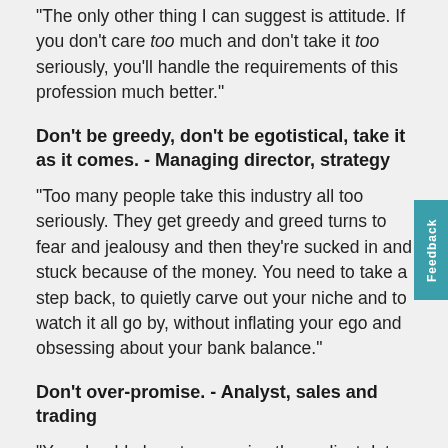"The only other thing I can suggest is attitude. If you don't care too much and don't take it too seriously, you'll handle the requirements of this profession much better."
Don't be greedy, don't be egotistical, take it as it comes. - Managing director, strategy
"Too many people take this industry all too seriously. They get greedy and greed turns to fear and jealousy and then they're sucked in and stuck because of the money. You need to take a step back, to quietly carve out your niche and to watch it all go by, without inflating your ego and obsessing about your bank balance."
Don't over-promise. - Analyst, sales and trading
"You should almost never give the earliest date by which you may be able to complete something. Yes, you may very well be capable of completing the work in that time but all you need is for something to sideswipe you and suddenly a bad day turns into a bad week and a bad wee